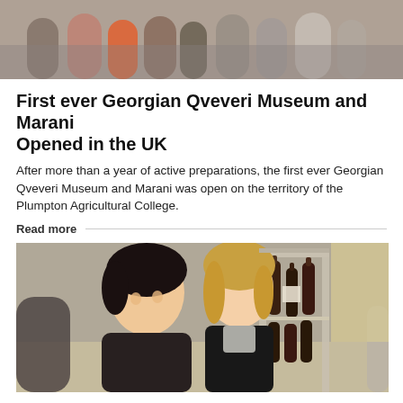[Figure (photo): Group of people at an event, partially visible at the top of the page]
First ever Georgian Qveveri Museum and Marani Opened in the UK
After more than a year of active preparations, the first ever Georgian Qveveri Museum and Marani was open on the territory of the Plumpton Agricultural College.
Read more
[Figure (photo): Two women smiling at a wine event, with wine bottles visible on a shelf in the background]
Georgian “Supra” traditions were introduced in Tokyo
Within the project "Georgia- Homeland of Wine", Georgian Evening "Tamada" was held in Tokyo, which was led by writer